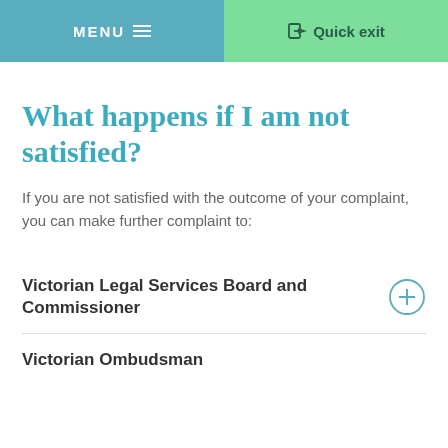MENU  Quick exit
What happens if I am not satisfied?
If you are not satisfied with the outcome of your complaint, you can make further complaint to:
Victorian Legal Services Board and Commissioner
Victorian Ombudsman